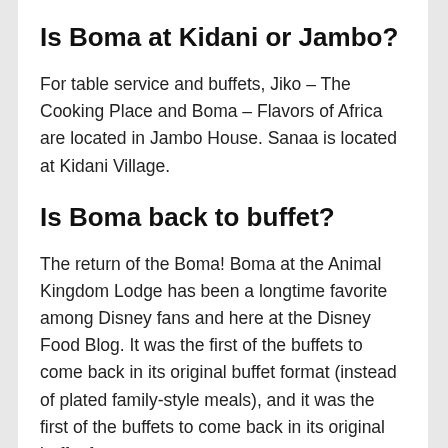Is Boma at Kidani or Jambo?
For table service and buffets, Jiko – The Cooking Place and Boma – Flavors of Africa are located in Jambo House. Sanaa is located at Kidani Village.
Is Boma back to buffet?
The return of the Boma! Boma at the Animal Kingdom Lodge has been a longtime favorite among Disney fans and here at the Disney Food Blog. It was the first of the buffets to come back in its original buffet format (instead of plated family-style meals), and it was the first of the buffets to come back in its original buffet format.